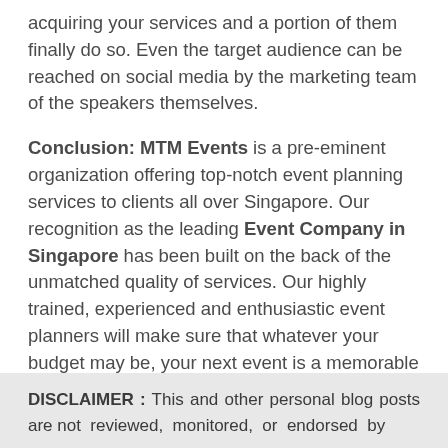acquiring your services and a portion of them finally do so. Even the target audience can be reached on social media by the marketing team of the speakers themselves.
Conclusion: MTM Events is a pre-eminent organization offering top-notch event planning services to clients all over Singapore. Our recognition as the leading Event Company in Singapore has been built on the back of the unmatched quality of services. Our highly trained, experienced and enthusiastic event planners will make sure that whatever your budget may be, your next event is a memorable affair for all your attendees.
DISCLAIMER : This and other personal blog posts are not reviewed, monitored, or endorsed by